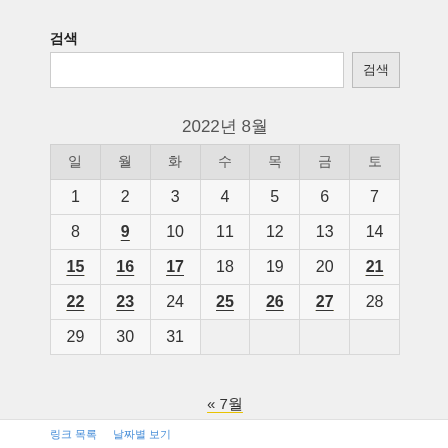검색
| 일 | 월 | 화 | 수 | 목 | 금 | 토 |
| --- | --- | --- | --- | --- | --- | --- |
| 1 | 2 | 3 | 4 | 5 | 6 | 7 |
| 8 | 9 | 10 | 11 | 12 | 13 | 14 |
| 15 | 16 | 17 | 18 | 19 | 20 | 21 |
| 22 | 23 | 24 | 25 | 26 | 27 | 28 |
| 29 | 30 | 31 |  |  |  |  |
« 7월
링크 목록 날짜별 보기